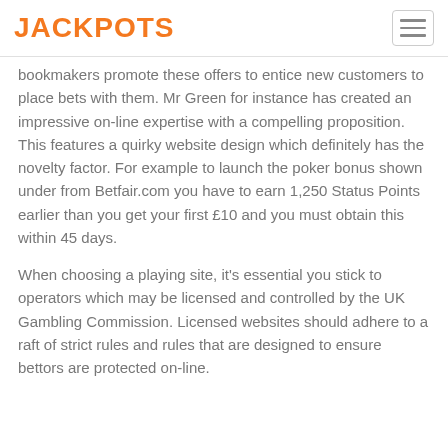JACKPOTS
bookmakers promote these offers to entice new customers to place bets with them. Mr Green for instance has created an impressive on-line expertise with a compelling proposition. This features a quirky website design which definitely has the novelty factor. For example to launch the poker bonus shown under from Betfair.com you have to earn 1,250 Status Points earlier than you get your first £10 and you must obtain this within 45 days.
When choosing a playing site, it's essential you stick to operators which may be licensed and controlled by the UK Gambling Commission. Licensed websites should adhere to a raft of strict rules and rules that are designed to ensure bettors are protected on-line.